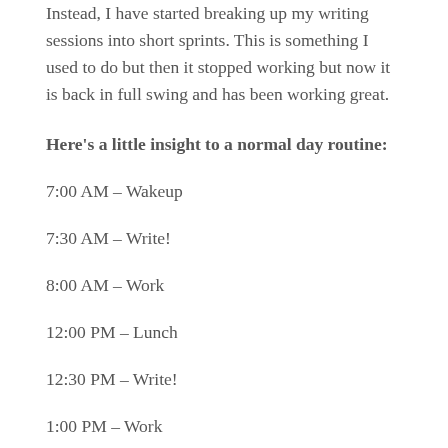Instead, I have started breaking up my writing sessions into short sprints. This is something I used to do but then it stopped working but now it is back in full swing and has been working great.
Here's a little insight to a normal day routine:
7:00 AM – Wakeup
7:30 AM – Write!
8:00 AM – Work
12:00 PM – Lunch
12:30 PM – Write!
1:00 PM – Work